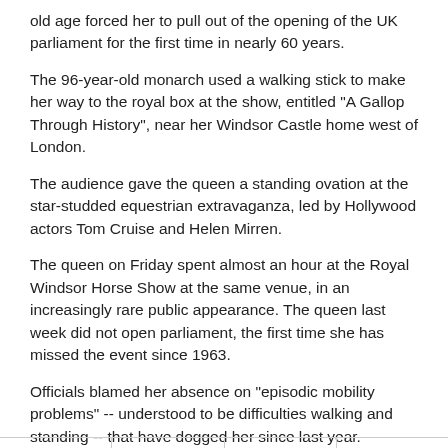old age forced her to pull out of the opening of the UK parliament for the first time in nearly 60 years.
The 96-year-old monarch used a walking stick to make her way to the royal box at the show, entitled "A Gallop Through History", near her Windsor Castle home west of London.
The audience gave the queen a standing ovation at the star-studded equestrian extravaganza, led by Hollywood actors Tom Cruise and Helen Mirren.
The queen on Friday spent almost an hour at the Royal Windsor Horse Show at the same venue, in an increasingly rare public appearance. The queen last week did not open parliament, the first time she has missed the event since 1963.
Officials blamed her absence on "episodic mobility problems" -- understood to be difficulties walking and standing -- that have dogged her since last year.